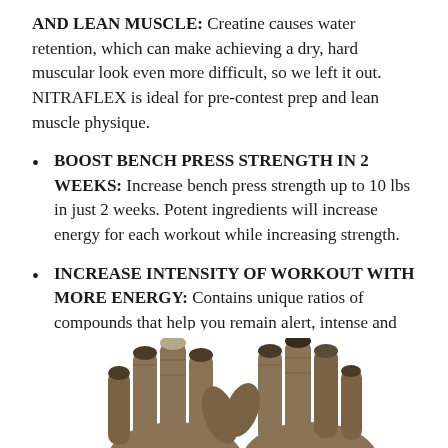AND LEAN MUSCLE: Creatine causes water retention, which can make achieving a dry, hard muscular look even more difficult, so we left it out. NITRAFLEX is ideal for pre-contest prep and lean muscle physique.
BOOST BENCH PRESS STRENGTH IN 2 WEEKS: Increase bench press strength up to 10 lbs in just 2 weeks. Potent ingredients will increase energy for each workout while increasing strength.
INCREASE INTENSITY OF WORKOUT WITH MORE ENERGY: Contains unique ratios of compounds that help you remain alert, intense and focused while you’re flying from set to set with veins fully dilated and muscles pumped to the extreme.
[Figure (photo): Bottom portion of the page showing two hands wearing workout/lifting gloves, photographed in sepia/brown tones against a white background.]